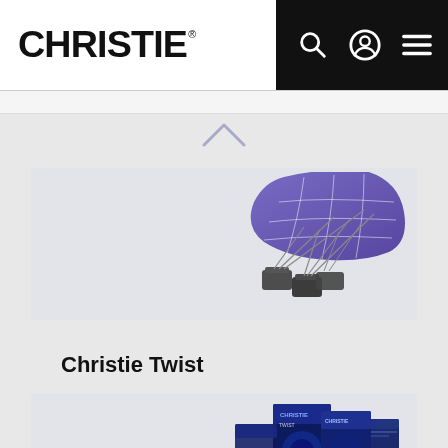[Figure (logo): Christie logo in black bold text]
[Figure (illustration): Christie Twist product - curved purple display screen with projectors below it, 3D render]
Christie Twist
[Figure (photo): Christie software product boxes - dark blue packaging with Christie branding]